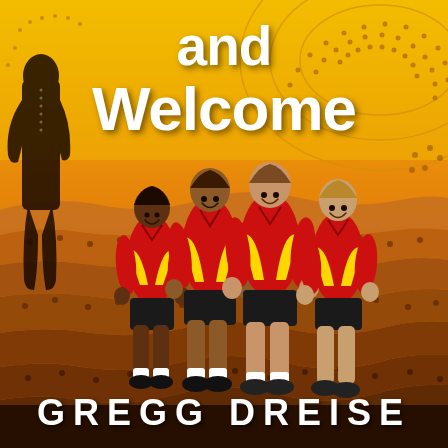[Figure (illustration): Book cover illustration showing four children in red and black school uniforms (polo shirts and shorts) standing together smiling, against an Australian Aboriginal dot-painting style background in warm oranges, yellows, and browns with flowing wave patterns and dot motifs. A dark silhouette of a tall adult figure stands behind them on the left. The background features concentric dotted circles and undulating striped patterns typical of Indigenous Australian art.]
and Welcome
GREGG DREISE